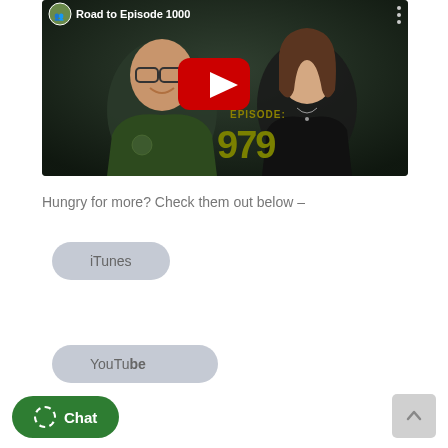[Figure (screenshot): YouTube video thumbnail showing two people (a man with glasses in a green jacket and a woman in black) with text 'Road to Episode 1000' at the top and 'EPISODE: 979' overlaid on the image with a YouTube play button in the center.]
Hungry for more? Check them out below –
iTunes
YouTube
Chat